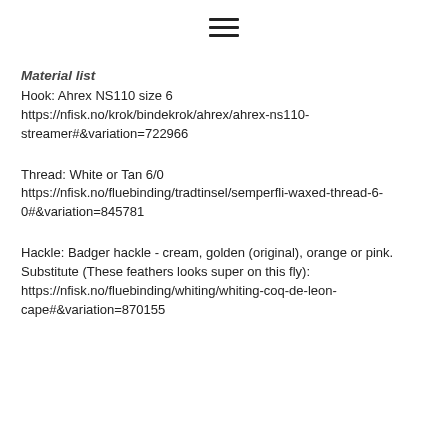[Figure (other): Hamburger menu icon (three horizontal lines)]
Material list
Hook: Ahrex NS110 size 6
https://nfisk.no/krok/bindekrok/ahrex/ahrex-ns110-streamer#&variation=722966
Thread: White or Tan 6/0
https://nfisk.no/fluebinding/tradtinsel/semperfli-waxed-thread-6-0#&variation=845781
Hackle: Badger hackle - cream, golden (original), orange or pink.
Substitute (These feathers looks super on this fly):
https://nfisk.no/fluebinding/whiting/whiting-coq-de-leon-cape#&variation=870155